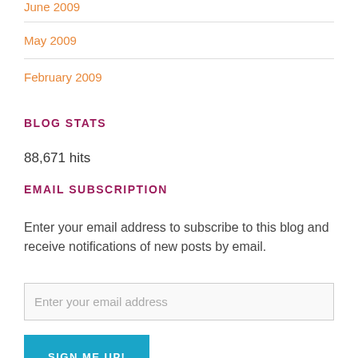June 2009
May 2009
February 2009
BLOG STATS
88,671 hits
EMAIL SUBSCRIPTION
Enter your email address to subscribe to this blog and receive notifications of new posts by email.
Enter your email address
SIGN ME UP!